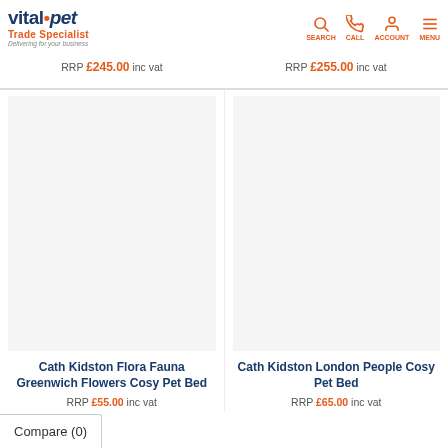vital.pet Trade Specialist - Delivering for your business | SEARCH | CALL | ACCOUNT | MENU
RRP £245.00 inc vat
RRP £255.00 inc vat
Cath Kidston Flora Fauna Greenwich Flowers Cosy Pet Bed
RRP £55.00 inc vat
Cath Kidston London People Cosy Pet Bed
RRP £65.00 inc vat
Compare (0)